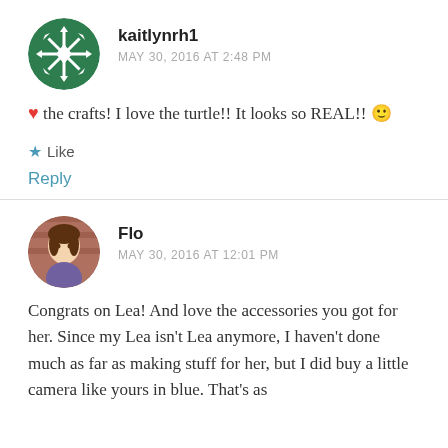[Figure (illustration): Circular avatar with green and white snowflake/geometric pattern on dark green background]
kaitlynrh1
MAY 30, 2016 AT 2:48 PM
❤ the crafts! I love the turtle!! It looks so REAL!! 🙂
★ Like
Reply
[Figure (photo): Circular avatar photo of a doll with brown hair against a brick wall background]
Flo
MAY 30, 2016 AT 12:01 PM
Congrats on Lea! And love the accessories you got for her. Since my Lea isn't Lea anymore, I haven't done much as far as making stuff for her, but I did buy a little camera like yours in blue. That's as